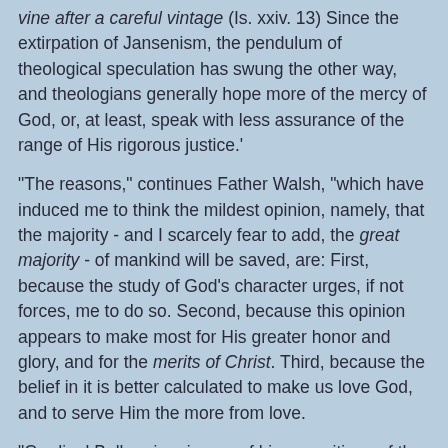vine after a careful vintage (Is. xxiv. 13) Since the extirpation of Jansenism, the pendulum of theological speculation has swung the other way, and theologians generally hope more of the mercy of God, or, at least, speak with less assurance of the range of His rigorous justice.'
"The reasons," continues Father Walsh, "which have induced me to think the mildest opinion, namely, that the majority - and I scarcely fear to add, the great majority - of mankind will be saved, are: First, because the study of God's character urges, if not forces, me to do so. Second, because this opinion appears to make most for His greater honor and glory, and for the merits of Christ. Third, because the belief in it is better calculated to make us love God, and to serve Him the more from love.
"Cardinal Bellarmine, in one of his expositions of the Psalms, writes: 'David records God's providence in regard of the beasts and the birds in order to let man see that he will never be forsaken by God in His providence. God, who so bounteously feeds beasts and ravens, will never desert those who are made to His own image and likeness.' Is not